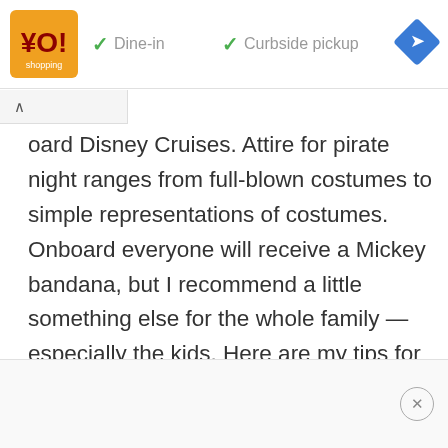[Figure (infographic): Ad banner with orange logo, green checkmarks for Dine-in and Curbside pickup, and a blue diamond navigation icon]
board Disney Cruises. Attire for pirate night ranges from full-blown costumes to simple representations of costumes. Onboard everyone will receive a Mickey bandana, but I recommend a little something else for the whole family — especially the kids. Here are my tips for How To Dress For Pirate Night On A Disney Cruise. I also recommend bringing princess costumes for little girls.
[Figure (infographic): Bottom advertisement bar with a close/X button circle on the right]